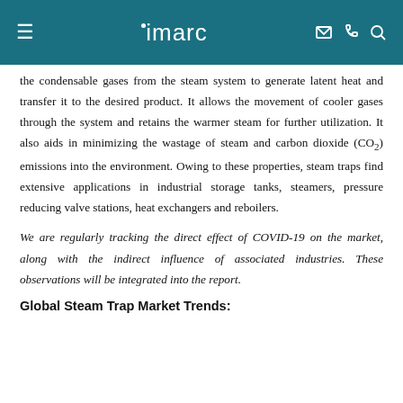imarc
the condensable gases from the steam system to generate latent heat and transfer it to the desired product. It allows the movement of cooler gases through the system and retains the warmer steam for further utilization. It also aids in minimizing the wastage of steam and carbon dioxide (CO2) emissions into the environment. Owing to these properties, steam traps find extensive applications in industrial storage tanks, steamers, pressure reducing valve stations, heat exchangers and reboilers.
We are regularly tracking the direct effect of COVID-19 on the market, along with the indirect influence of associated industries. These observations will be integrated into the report.
Global Steam Trap Market Trends: